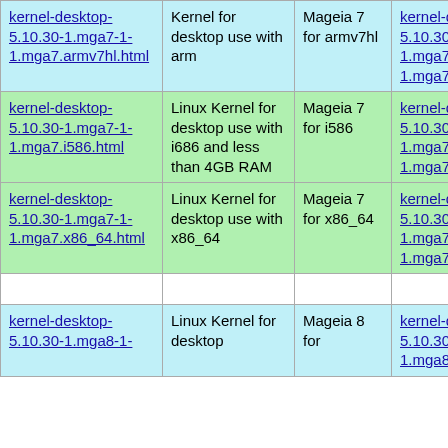| Link (HTML) | Description | Distribution | Link (RPM) |
| --- | --- | --- | --- |
| kernel-desktop-5.10.30-1.mga7-1-1.mga7.armv7hl.html | Kernel for desktop use with arm | Mageia 7 for armv7hl | kernel-desktop-5.10.30-1.mga7-1-1.mga7.armv7hl.rpm |
| kernel-desktop-5.10.30-1.mga7-1-1.mga7.i586.html | Linux Kernel for desktop use with i686 and less than 4GB RAM | Mageia 7 for i586 | kernel-desktop-5.10.30-1.mga7-1-1.mga7.i586.rpm |
| kernel-desktop-5.10.30-1.mga7-1-1.mga7.x86_64.html | Linux Kernel for desktop use with x86_64 | Mageia 7 for x86_64 | kernel-desktop-5.10.30-1.mga7-1-1.mga7.x86_64.rpm |
| kernel-desktop-5.10.30-1.mga8-1- | Linux Kernel for desktop | Mageia 8 for | kernel-desktop-5.10.30-1.mga8-1- |